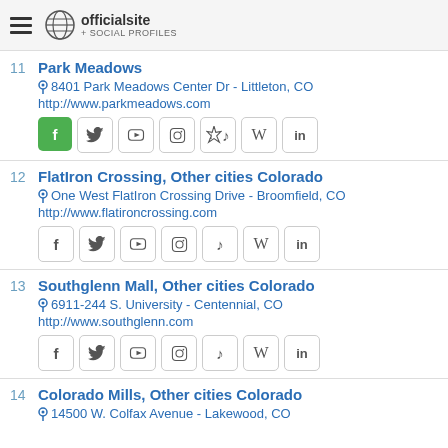officialsite + SOCIAL PROFILES
11 Park Meadows
8401 Park Meadows Center Dr - Littleton, CO
http://www.parkmeadows.com
12 FlatIron Crossing, Other cities Colorado
One West FlatIron Crossing Drive - Broomfield, CO
http://www.flatironcrossing.com
13 Southglenn Mall, Other cities Colorado
6911-244 S. University - Centennial, CO
http://www.southglenn.com
14 Colorado Mills, Other cities Colorado
14500 W. Colfax Avenue - Lakewood, CO